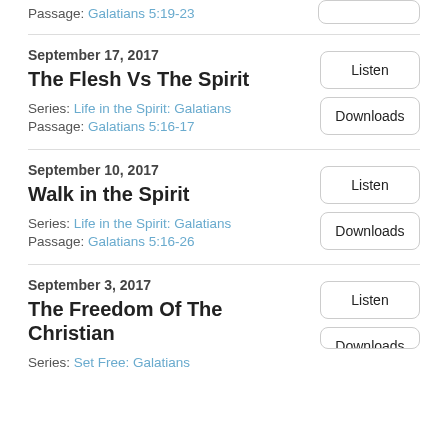Passage: Galatians 5:19-23
September 17, 2017
The Flesh Vs The Spirit
Series: Life in the Spirit: Galatians
Passage: Galatians 5:16-17
September 10, 2017
Walk in the Spirit
Series: Life in the Spirit: Galatians
Passage: Galatians 5:16-26
September 3, 2017
The Freedom Of The Christian
Series: Set Free: Galatians